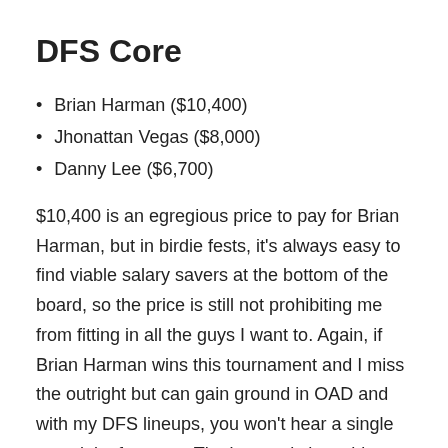DFS Core
Brian Harman ($10,400)
Jhonattan Vegas ($8,000)
Danny Lee ($6,700)
$10,400 is an egregious price to pay for Brian Harman, but in birdie fests, it’s always easy to find viable salary savers at the bottom of the board, so the price is still not prohibiting me from fitting in all the guys I want to. Again, if Brian Harman wins this tournament and I miss the outright but can gain ground in OAD and with my DFS lineups, you won’t hear a single complaint from me. That’s exactly how things went with Jon Rahm at the US Open, and